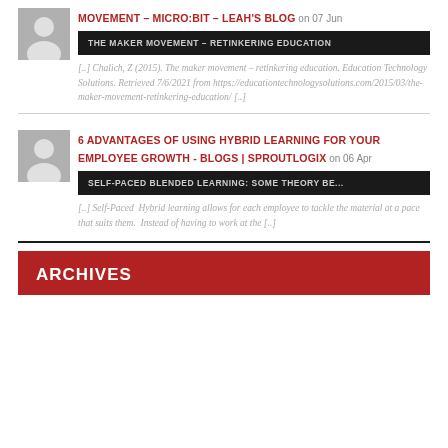MOVEMENT – MICRO:BIT – LEAH'S BLOG on 07 Jun
THE MAKER MOVEMENT – RETINKERING EDUCATION
[..] Chalich, Z (2015). The maker movement – retinkering education. Education Technology Solutions. Retrieved 7/6/2021 from https://educationtechnologysolutions.com/2015/03/the-maker-movement-retinkering-education/ [..]
6 ADVANTAGES OF USING HYBRID LEARNING FOR YOUR EMPLOYEE GROWTH - BLOGS | SPROUTLOGIX on 06 Apr
SELF-PACED BLENDED LEARNING: SOME THEORY BE...
[..] Self-Paced  Hybrid learning allows for each employee to tackle the material at a pace that suits them.  Instead of having to work at the [..]
ARCHIVES